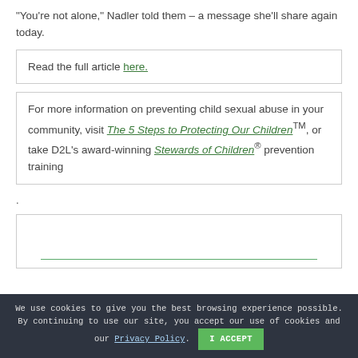“You’re not alone,” Nadler told them – a message she’ll share again today.
Read the full article here.
For more information on preventing child sexual abuse in your community, visit The 5 Steps to Protecting Our Children™, or take D2L’s award-winning Stewards of Children® prevention training
.
[Figure (other): Empty box with a green horizontal line near the bottom]
We use cookies to give you the best browsing experience possible. By continuing to use our site, you accept our use of cookies and our Privacy Policy. I ACCEPT